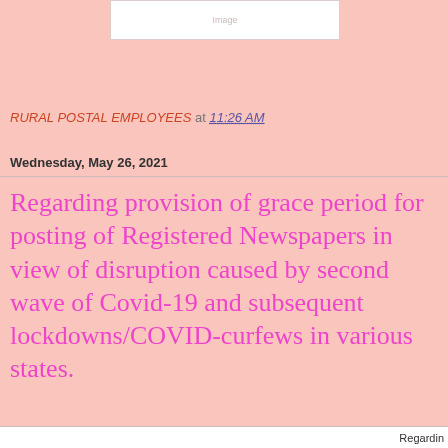[Figure (other): Header image/logo placeholder at top center]
RURAL POSTAL EMPLOYEES at 11:26 AM
Wednesday, May 26, 2021
Regarding provision of grace period for posting of Registered Newspapers in view of disruption caused by second wave of Covid-19 and subsequent lockdowns/COVID-curfews in various states.
Regarding